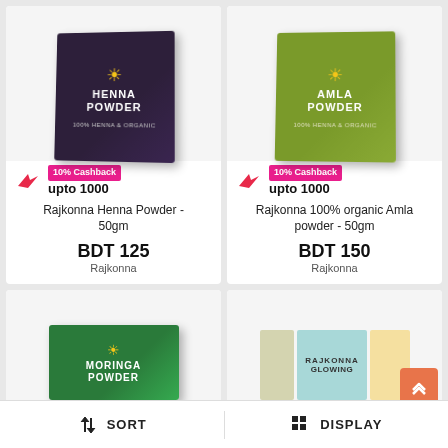[Figure (photo): Rajkonna Henna Powder 50gm dark purple box with sun logo]
10% Cashback
upto 1000
Rajkonna Henna Powder - 50gm
BDT 125
Rajkonna
[Figure (photo): Rajkonna 100% organic Amla Powder 50gm olive green box with sun logo]
10% Cashback
upto 1000
Rajkonna 100% organic Amla powder - 50gm
BDT 150
Rajkonna
[Figure (photo): Rajkonna Moringa Powder green box with sun logo]
[Figure (photo): Rajkonna Glowing product box with yellow and teal strips]
SORT
DISPLAY